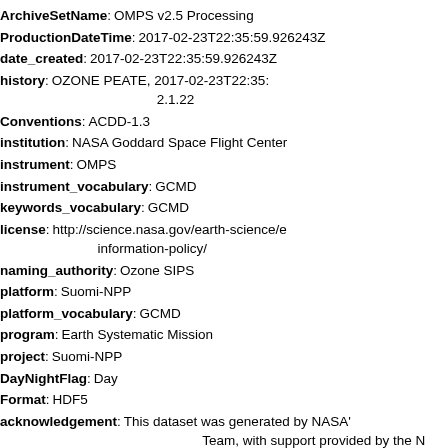ArchiveSetName: OMPS v2.5 Processing
ProductionDateTime: 2017-02-23T22:35:59.926243Z
date_created: 2017-02-23T22:35:59.926243Z
history: OZONE PEATE, 2017-02-23T22:35: 2.1.22
Conventions: ACDD-1.3
institution: NASA Goddard Space Flight Center
instrument: OMPS
instrument_vocabulary: GCMD
keywords_vocabulary: GCMD
license: http://science.nasa.gov/earth-science/earth-science-data/data-information-policy/
naming_authority: Ozone SIPS
platform: Suomi-NPP
platform_vocabulary: GCMD
program: Earth Systematic Mission
project: Suomi-NPP
DayNightFlag: Day
Format: HDF5
acknowledgement: This dataset was generated by NASA's Team, with support provided by the N